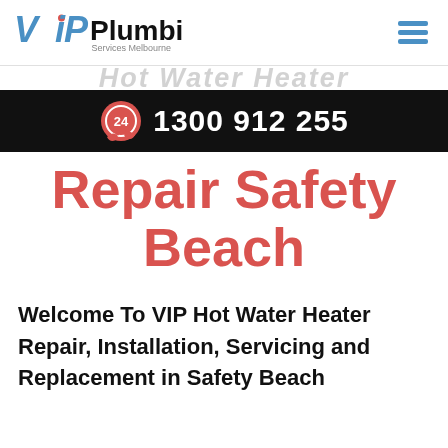VIP Plumbing Services Melbourne
[Figure (infographic): Black banner with 24-hour emergency icon and phone number 1300 912 255 in white text]
Hot Water Heater Repair Safety Beach
Welcome To VIP Hot Water Heater Repair, Installation, Servicing and Replacement in Safety Beach